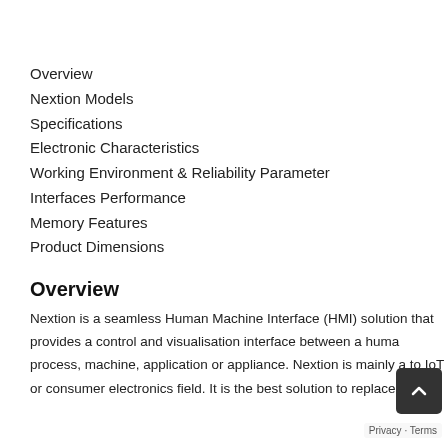Overview
Nextion Models
Specifications
Electronic Characteristics
Working Environment & Reliability Parameter
Interfaces Performance
Memory Features
Product Dimensions
Overview
Nextion is a seamless Human Machine Interface (HMI) solution that provides a control and visualisation interface between a human process, machine, application or appliance. Nextion is mainly a to IoT or consumer electronics field. It is the best solution to replace